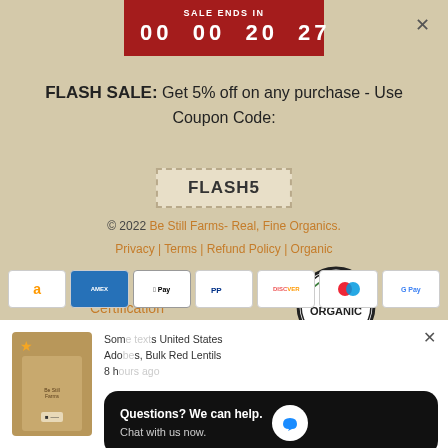SALE ENDS IN 00 00 20 27
FLASH SALE: Get 5% off on any purchase - Use Coupon Code:
FLASH5
© 2022 Be Still Farms- Real, Fine Organics. Privacy | Terms | Refund Policy | Organic Certification
[Figure (logo): USDA Organic circular seal badge]
[Figure (other): Payment method icons: Amazon, Amex, Apple Pay, PayPal, Discover, Maestro, Google Pay]
Questions? We can help. Chat with us now.
Som... United States Ado... s, Bulk Red Lentils 8 h...